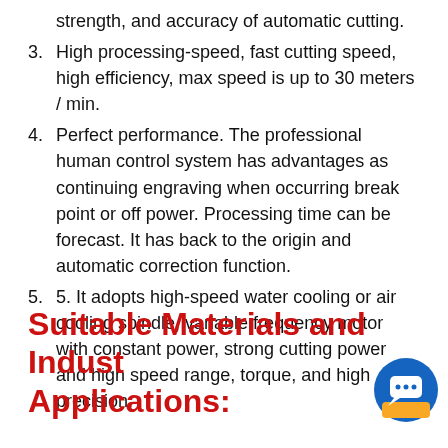strength, and accuracy of automatic cutting.
3. High processing-speed, fast cutting speed, high efficiency, max speed is up to 30 meters / min.
4. Perfect performance. The professional human control system has advantages as continuing engraving when occurring break point or off power. Processing time can be forecast. It has back to the origin and automatic correction function.
5. 5. It adopts high-speed water cooling or air cooling spindle, variable frequency motor with constant power, strong cutting power and high speed range, torque, and high precision.
Suitable Materials and Industrial Applications: